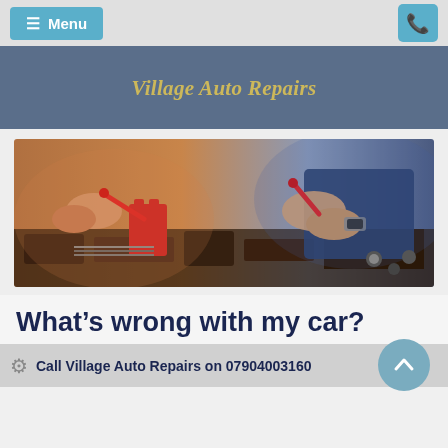≡ Menu  [phone icon]
Village Auto Repairs
[Figure (photo): Two mechanics working on a car engine with red probe tools, testing electrical components]
What's wrong with my car?
Call Village Auto Repairs on 07904003160